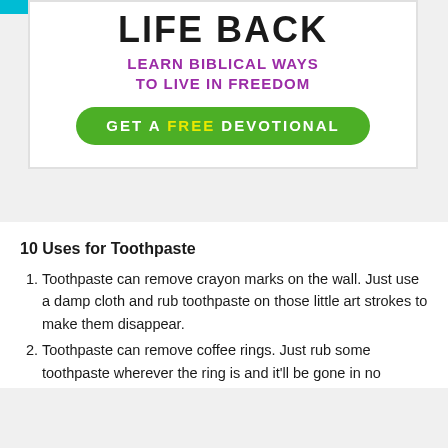[Figure (infographic): Advertisement banner with text 'LIFE BACK', 'LEARN BIBLICAL WAYS TO LIVE IN FREEDOM', and a green button saying 'GET A FREE DEVOTIONAL']
10 Uses for Toothpaste
Toothpaste can remove crayon marks on the wall. Just use a damp cloth and rub toothpaste on those little art strokes to make them disappear.
Toothpaste can remove coffee rings. Just rub some toothpaste wherever the ring is and it'll be gone in no